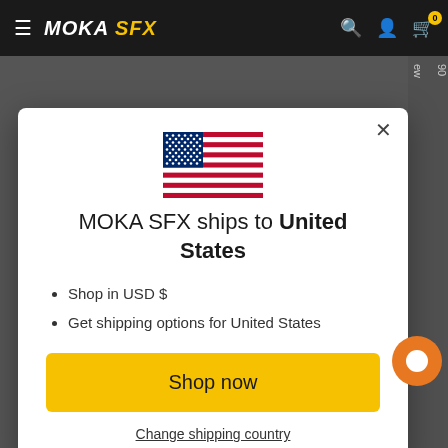MOKA SFX
[Figure (screenshot): US flag illustration shown in modal dialog]
MOKA SFX ships to United States
Shop in USD $
Get shipping options for United States
Shop now
Change shipping country
Write a review